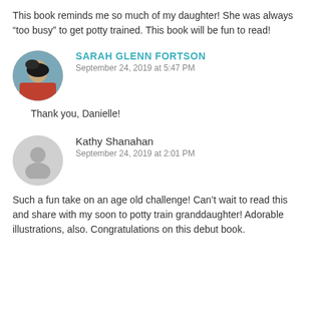This book reminds me so much of my daughter! She was always “too busy” to get potty trained. This book will be fun to read!
SARAH GLENN FORTSON
September 24, 2019 at 5:47 PM
Thank you, Danielle!
Kathy Shanahan
September 24, 2019 at 2:01 PM
Such a fun take on an age old challenge! Can’t wait to read this and share with my soon to potty train granddaughter! Adorable illustrations, also. Congratulations on this debut book.